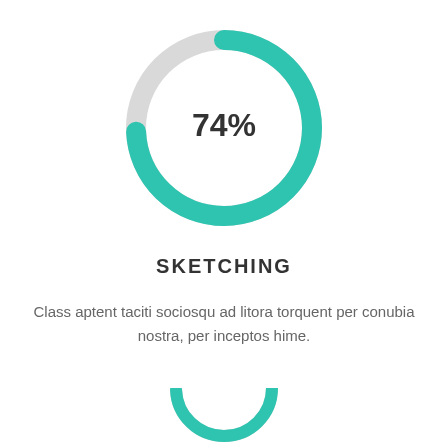[Figure (donut-chart): 74%]
SKETCHING
Class aptent taciti sociosqu ad litora torquent per conubia nostra, per inceptos hime.
[Figure (donut-chart): Partial donut chart visible at bottom of page]